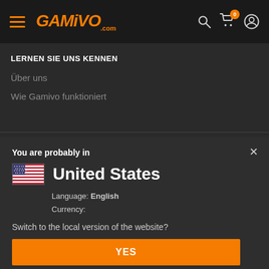[Figure (screenshot): GAMIVO.com website header with hamburger menu, orange GAMIVO logo, search icon, cart icon with badge showing 0, and user account icon on dark background]
LERNEN SIE UNS KENNEN
Über uns
Wie Gamivo funktioniert
You are probably in
United States
Language: English
Currency:
Switch to the local version of the website?
YES